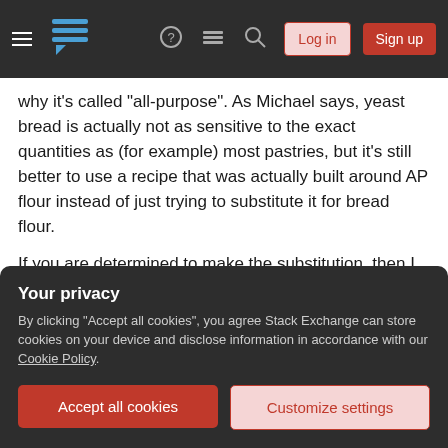Stack Exchange navigation bar with hamburger menu, logo, help, chat, search icons, Log in and Sign up buttons
why it's called "all-purpose". As Michael says, yeast bread is actually not as sensitive to the exact quantities as (for example) most pastries, but it's still better to use a recipe that was actually built around AP flour instead of just trying to substitute it for bread flour.
If you are determined to make the substitution, then I would suggest you try to find some wheat gluten and add a small amount of that to the AP flour. Mathematically, if you assume that you're lacking
Your privacy
By clicking "Accept all cookies", you agree Stack Exchange can store cookies on your device and disclose information in accordance with our Cookie Policy.
Accept all cookies
Customize settings